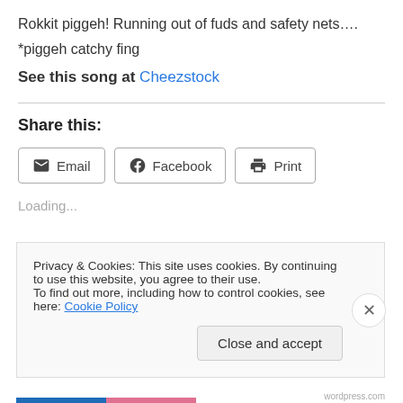Rokkit piggeh! Running out of fuds and safety nets….
*piggeh catchy fing
See this song at Cheezstock
Share this:
Email  Facebook  Print
Loading...
Privacy & Cookies: This site uses cookies. By continuing to use this website, you agree to their use.
To find out more, including how to control cookies, see here: Cookie Policy